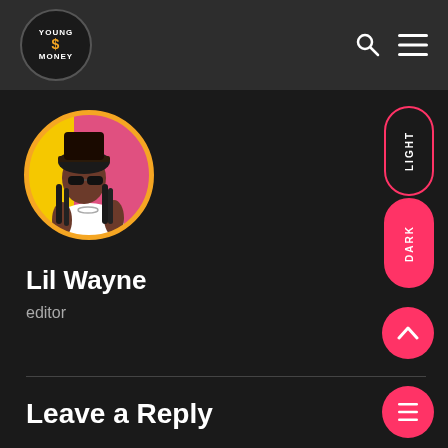Young Money — header bar with logo, search icon, and menu icon
[Figure (photo): Circular avatar photo of Lil Wayne wearing sunglasses, hat, and white shirt against a pink/yellow background]
Lil Wayne
editor
Leave a Reply